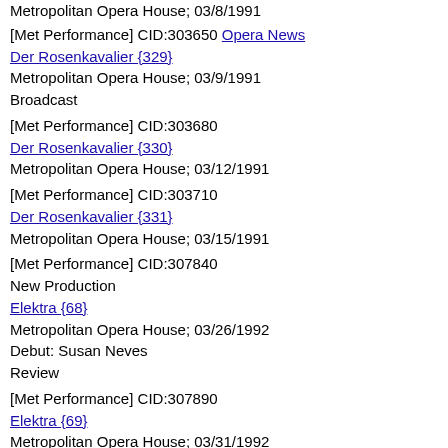Metropolitan Opera House; 03/8/1991
[Met Performance] CID:303650 Opera News
Der Rosenkavalier {329}
Metropolitan Opera House; 03/9/1991
Broadcast
[Met Performance] CID:303680
Der Rosenkavalier {330}
Metropolitan Opera House; 03/12/1991
[Met Performance] CID:303710
Der Rosenkavalier {331}
Metropolitan Opera House; 03/15/1991
[Met Performance] CID:307840
New Production
Elektra {68}
Metropolitan Opera House; 03/26/1992
Debut: Susan Neves
Review
[Met Performance] CID:307890
Elektra {69}
Metropolitan Opera House; 03/31/1992
[Met Performance] CID:307920
Elektra {70}
Metropolitan Opera House; 04/3/1992
[Met Performance] CID:307960